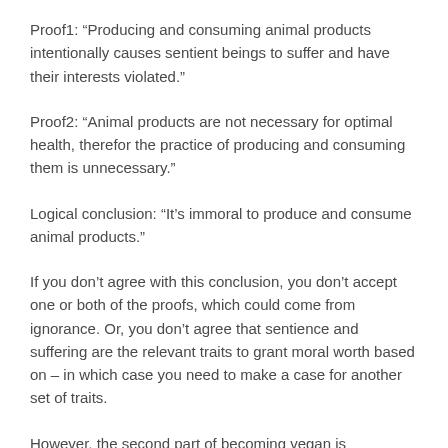Proof1: “Producing and consuming animal products intentionally causes sentient beings to suffer and have their interests violated.”
Proof2: “Animal products are not necessary for optimal health, therefor the practice of producing and consuming them is unnecessary.”
Logical conclusion: “It’s immoral to produce and consume animal products.”
If you don’t agree with this conclusion, you don’t accept one or both of the proofs, which could come from ignorance. Or, you don’t agree that sentience and suffering are the relevant traits to grant moral worth based on – in which case you need to make a case for another set of traits.
However, the second part of becoming vegan is